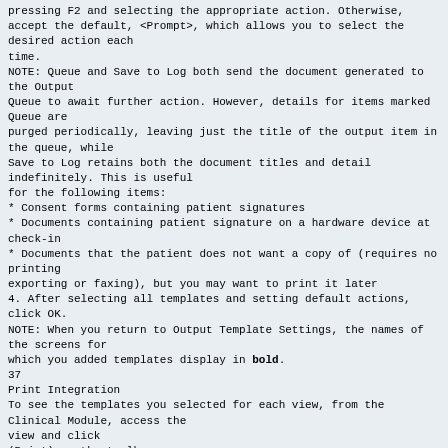pressing F2 and selecting the appropriate action. Otherwise,
accept the default, <Prompt>, which allows you to select the desired action each
time.
NOTE: Queue and Save to Log both send the document generated to the Output
Queue to await further action. However, details for items marked Queue are
purged periodically, leaving just the title of the output item in the queue, while
Save to Log retains both the document titles and detail indefinitely. This is useful
for the following items:
* Consent forms containing patient signatures
* Documents containing patient signature on a hardware device at check-in
* Documents that the patient does not want a copy of (requires no printing
exporting or faxing), but you may want to print it later
4. After selecting all templates and setting default actions, click OK.
NOTE: When you return to Output Template Settings, the names of the screens for
which you added templates display in bold.
37
Print Integration
To see the templates you selected for each view, from the Clinical Module, access the
view and click
(Print) on the toolbar.
Creating encounter packs